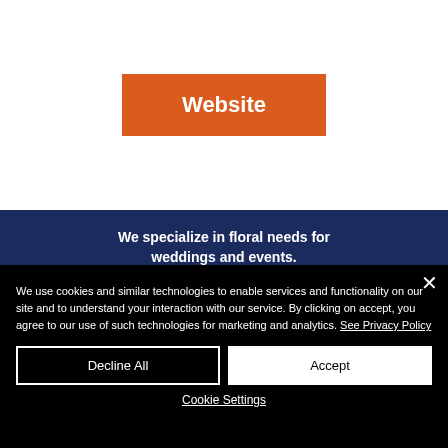[Figure (other): Orange 'Website' button on white background]
We specialize in floral needs for weddings and events.

We offer one of the nations largest selection of men's formal wear rentals including Tuxedos, Suits, Coats, Pants.
We use cookies and similar technologies to enable services and functionality on our site and to understand your interaction with our service. By clicking on accept, you agree to our use of such technologies for marketing and analytics. See Privacy Policy
Decline All
Accept
Cookie Settings